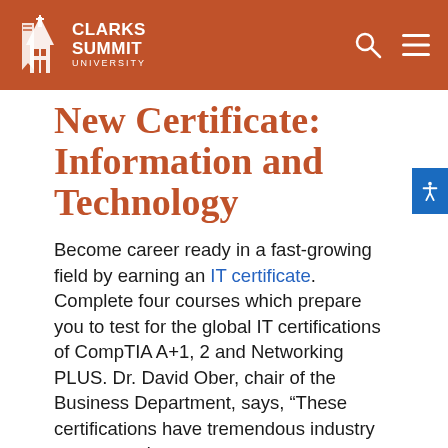[Figure (logo): Clarks Summit University logo in white on burnt orange header bar, with search and hamburger menu icons]
New Certificate: Information and Technology
Become career ready in a fast-growing field by earning an IT certificate. Complete four courses which prepare you to test for the global IT certifications of CompTIA A+1, 2 and Networking PLUS. Dr. David Ober, chair of the Business Department, says, “These certifications have tremendous industry respect and generate substantia business opportunities.”